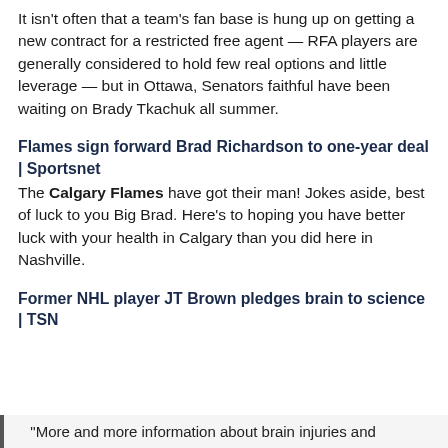It isn't often that a team's fan base is hung up on getting a new contract for a restricted free agent — RFA players are generally considered to hold few real options and little leverage — but in Ottawa, Senators faithful have been waiting on Brady Tkachuk all summer.
Flames sign forward Brad Richardson to one-year deal | Sportsnet
The Calgary Flames have got their man! Jokes aside, best of luck to you Big Brad. Here's to hoping you have better luck with your health in Calgary than you did here in Nashville.
Former NHL player JT Brown pledges brain to science | TSN
"More and more information about brain injuries and...